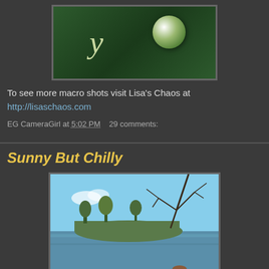[Figure (photo): Partial image of a green background with handwritten-style text 'y' and a reflective glass ball ornament]
To see more macro shots visit Lisa's Chaos at http://lisaschaos.com
EG CameraGirl at 5:02 PM   29 comments:
Sunny But Chilly
[Figure (photo): Outdoor lake scene with bare trees in foreground, calm blue water, and a wooded island or shoreline in the background under a partly cloudy blue sky]